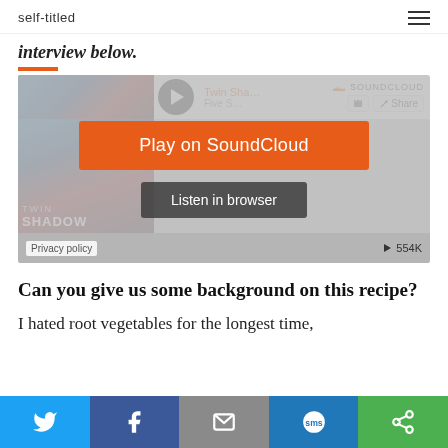self-titled
interview below.
[Figure (screenshot): SoundCloud embedded player for Twin Shadow with 'Play on SoundCloud' overlay button and 'Listen in browser' option, showing 554K plays and Twin Shadow album art]
Can you give us some background on this recipe?
I hated root vegetables for the longest time,
Twitter | Facebook | Email | SMS | Other share buttons